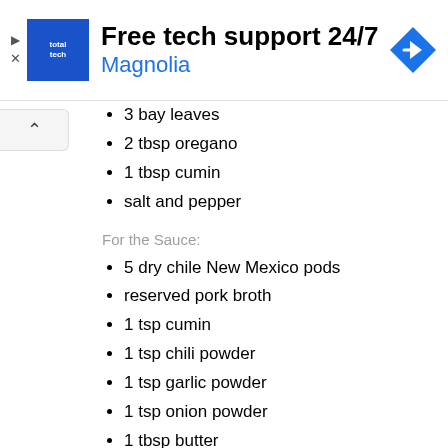[Figure (screenshot): Advertisement banner for 'Free tech support 24/7' by Magnolia, featuring a blue square logo with 'totaltech' text, a navigation arrow icon, and a play/dismiss button on the left.]
3 bay leaves
2 tbsp oregano
1 tbsp cumin
salt and pepper
For the Sauce:
5 dry chile New Mexico pods
reserved pork broth
1 tsp cumin
1 tsp chili powder
1 tsp garlic powder
1 tsp onion powder
1 tbsp butter
1 tbsp flour
For the Polenta:
4 cups water